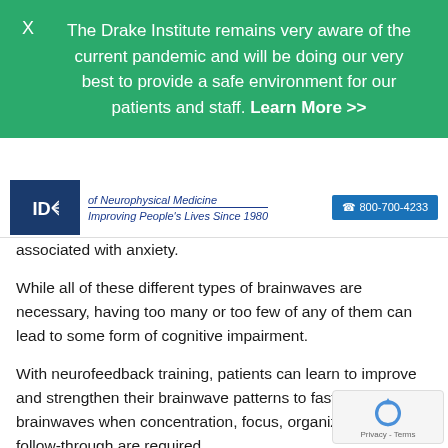The Drake Institute remains very aware of the current pandemic and will be doing our very best to provide a safe environment for our patients and staff. Learn More >>
of Neurophysical Medicine | Improving People's Lives Since 1980 | 800-700-4233
associated with anxiety.
While all of these different types of brainwaves are necessary, having too many or too few of any of them can lead to some form of cognitive impairment.
With neurofeedback training, patients can learn to improve and strengthen their brainwave patterns to faster brainwaves when concentration, focus, organization, and follow-through are required.
Conversely, patients can also learn how to “shift” their brain’s functioning into a more relaxed state to reduce the effects of stress and anxiety.